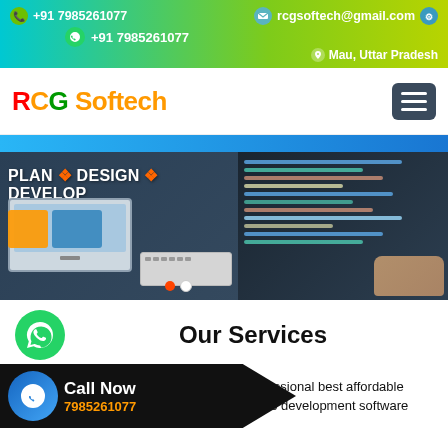+91 7985261077  rcgsoftech@gmail.com  +91 7985261077  Mau, Uttar Pradesh
RCG Softech
[Figure (screenshot): Hero banner with text PLAN + DESIGN + DEVELOP, showing web design elements on the left and a person coding on the right]
Our Services
Call Now 7985261077  professional best affordable web development software